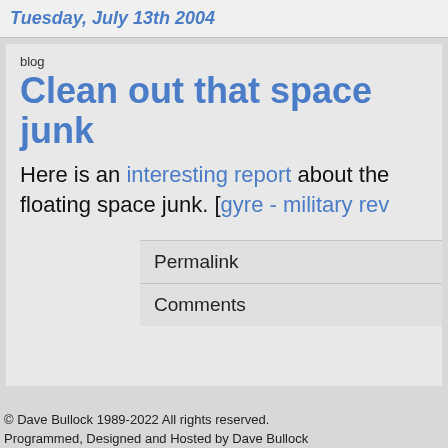Tuesday, July 13th 2004
blog
Clean out that space junk
Here is an interesting report about the floating space junk. [gyre - military rev
Permalink
Comments
© Dave Bullock 1989-2022 All rights reserved.
Programmed, Designed and Hosted by Dave Bullock